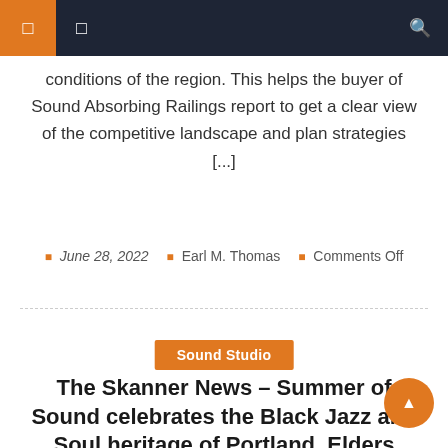Navigation bar with menu icons and search
conditions of the region. This helps the buyer of Sound Absorbing Railings report to get a clear view of the competitive landscape and plan strategies [...]
June 28, 2022  Earl M. Thomas  Comments Off
Sound Studio
The Skanner News – Summer of Sound celebrates the Black Jazz and Soul heritage of Portland, Elders
Portland's jazz and soul scenes are rarely held next to genre meccas like Memphis or Chicago. As musician Charlie Brown III argues, it's not for lack of talent. Charlie Brown III"The so much music history rooted in so many places, like Memphis